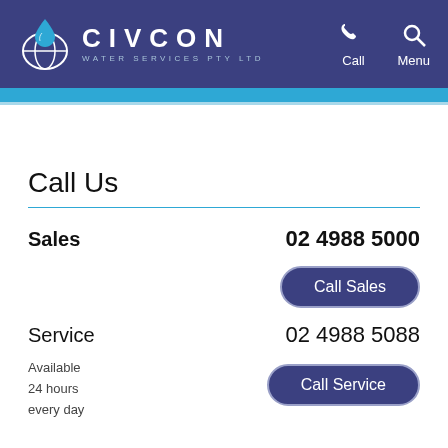[Figure (logo): Civcon Water Services Pty Ltd logo with water droplet/globe icon and company name on dark blue background header with Call and Menu navigation icons]
Call Us
Sales	02 4988 5000
Call Sales
Service	02 4988 5088
Call Service
Available 24 hours every day